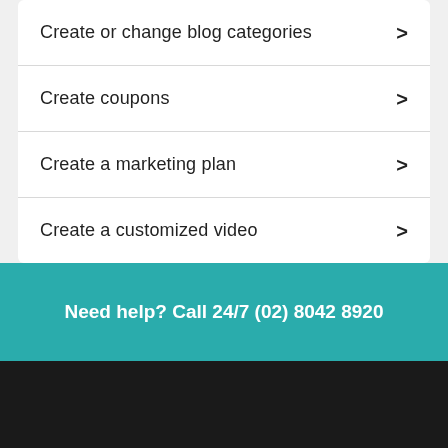Create or change blog categories
Create coupons
Create a marketing plan
Create a customized video
Need help? Call 24/7 (02) 8042 8920